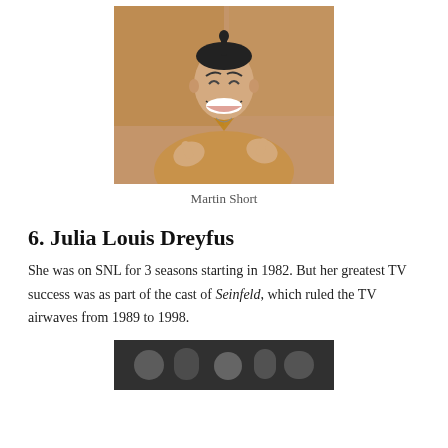[Figure (photo): Photo of Martin Short making an exaggerated expression, wearing a tan/brown jacket, with slicked-back hair with a small upright tuft, gesturing with hands raised near chest, in front of a brown background.]
Martin Short
6. Julia Louis Dreyfus
She was on SNL for 3 seasons starting in 1982. But her greatest TV success was as part of the cast of Seinfeld, which ruled the TV airwaves from 1989 to 1998.
[Figure (photo): Partial black-and-white photo at bottom of page, cropped.]